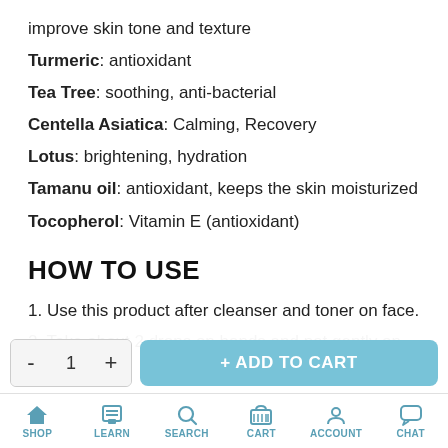improve skin tone and texture
Turmeric: antioxidant
Tea Tree: soothing, anti-bacterial
Centella Asiatica: Calming, Recovery
Lotus: brightening, hydration
Tamanu oil: antioxidant, keeps the skin moisturized
Tocopherol: Vitamin E (antioxidant)
HOW TO USE
1. Use this product after cleanser and toner on face.
2. Take about 2 drops on hands and pat gently on face for
3. Continue with the rest of your care routine such as
SHOP  LEARN  SEARCH  CART  ACCOUNT  CHAT